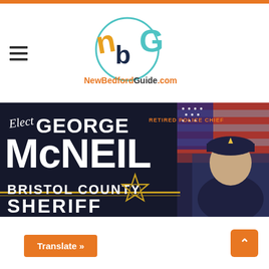[Figure (logo): NewBedfordGuide.com logo with stylized 'nbG' letters in teal, yellow, and dark blue with circular element, and site name text]
[Figure (photo): Campaign banner for George McNeil - Retired Police Chief running for Bristol County Sheriff. Dark background with large white and gold text reading 'Elect GEORGE McNEIL BRISTOL COUNTY SHERIFF' with a gold star badge. Photo of man in police dress uniform on right side.]
Translate »
^